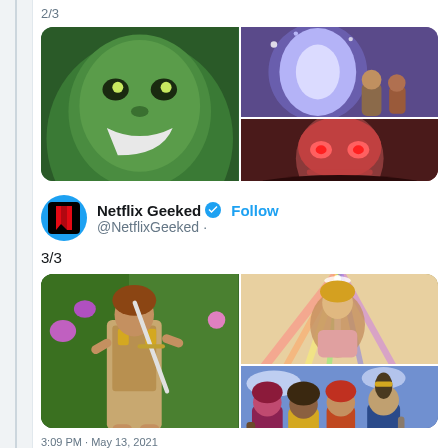2/3
[Figure (screenshot): Composite of 3 anime screenshots: large green Hulk-like creature on left, two smaller panels on right showing a glowing magical figure and a villainous red-masked character]
[Figure (logo): Netflix Geeked Twitter profile avatar - cyan circle with Netflix N logo]
Netflix Geeked @NetflixGeeked · Follow
3/3
[Figure (screenshot): Composite of 3 anime screenshots: large panel of female warrior with sword in forest, top right shows hero with glowing sword, bottom right shows group of characters]
3:09 PM · May 13, 2021